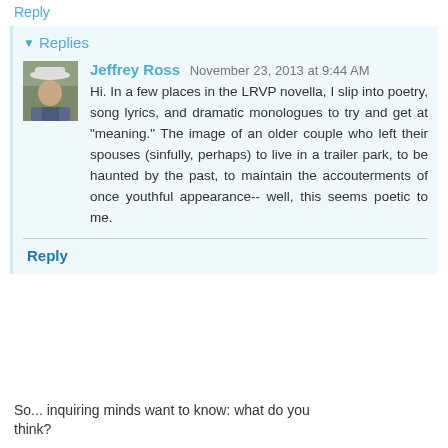Reply
Replies
Jeffrey Ross  November 23, 2013 at 9:44 AM
Hi. In a few places in the LRVP novella, I slip into poetry, song lyrics, and dramatic monologues to try and get at "meaning." The image of an older couple who left their spouses (sinfully, perhaps) to live in a trailer park, to be haunted by the past, to maintain the accouterments of once youthful appearance-- well, this seems poetic to me.
Reply
So... inquiring minds want to know: what do you think?